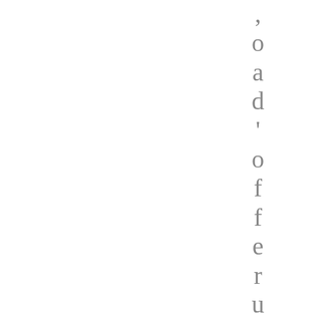, o a d , o f f e r u n p r e c e d